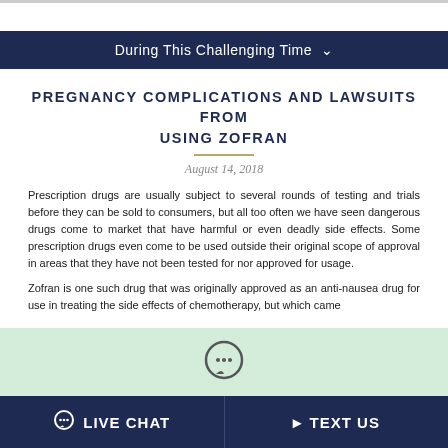During This Challenging Time
PREGNANCY COMPLICATIONS AND LAWSUITS FROM USING ZOFRAN
August 14, 2018
Prescription drugs are usually subject to several rounds of testing and trials before they can be sold to consumers, but all too often we have seen dangerous drugs come to market that have harmful or even deadly side effects. Some prescription drugs even come to be used outside their original scope of approval in areas that they have not been tested for nor approved for usage.
Zofran is one such drug that was originally approved as an anti-nausea drug for use in treating the side effects of chemotherapy, but which came